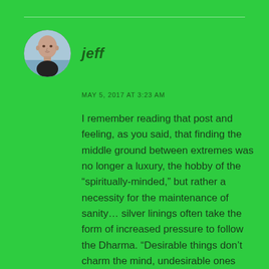[Figure (photo): Circular avatar photo of a bald man outdoors near water]
jeff
MAY 5, 2017 AT 3:23 AM
I remember reading that post and feeling, as you said, that finding the middle ground between extremes was no longer a luxury, the hobby of the “spiritually-minded,” but rather a necessity for the maintenance of sanity… silver linings often take the form of increased pressure to follow the Dharma. “Desirable things don’t charm the mind, undesirable ones bring no resistance.” More and more, I find comfort not just in these words, but in the actual